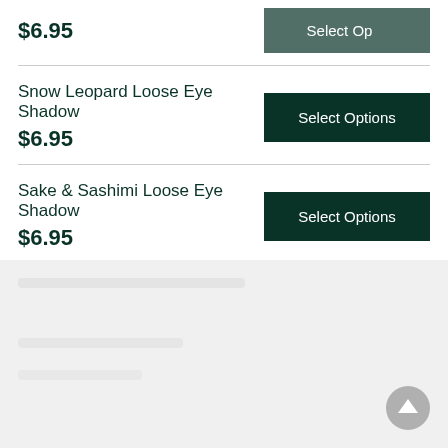$6.95
Snow Leopard Loose Eye Shadow
$6.95
Select Options
Sake & Sashimi Loose Eye Shadow
$6.95
Select Options